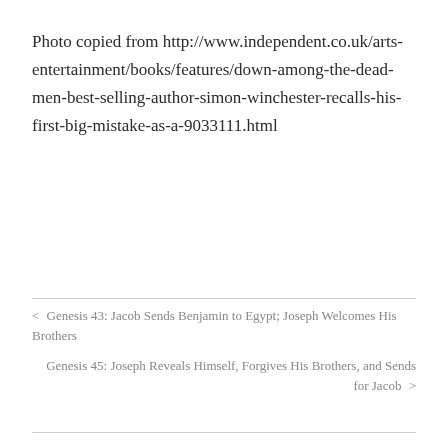Photo copied from http://www.independent.co.uk/arts-entertainment/books/features/down-among-the-dead-men-best-selling-author-simon-winchester-recalls-his-first-big-mistake-as-a-9033111.html
< Genesis 43: Jacob Sends Benjamin to Egypt; Joseph Welcomes His Brothers
Genesis 45: Joseph Reveals Himself, Forgives His Brothers, and Sends for Jacob >